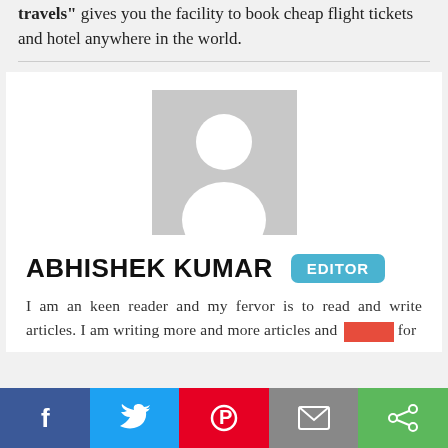travels" gives you the facility to book cheap flight tickets and hotel anywhere in the world.
[Figure (photo): Default grey avatar/profile placeholder image showing a generic person silhouette]
ABHISHEK KUMAR  EDITOR
I am an keen reader and my fervor is to read and write articles. I am writing more and more articles and [blocked] for
Social share bar with Facebook, Twitter, Pinterest, Email, Share buttons